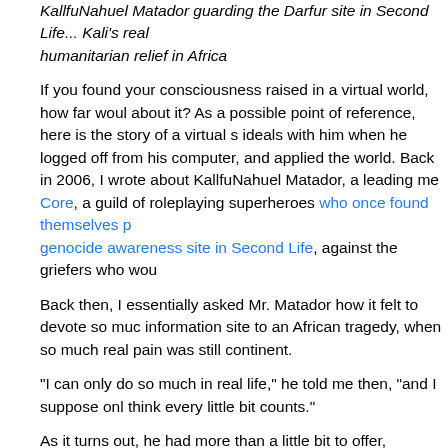KallfuNahuel Matador guarding the Darfur site in Second Life... Kali's real humanitarian relief in Africa
If you found your consciousness raised in a virtual world, how far would you go about it? As a possible point of reference, here is the story of a virtual s ideals with him when he logged off from his computer, and applied the world. Back in 2006, I wrote about KallfuNahuel Matador, a leading me Core, a guild of roleplaying superheroes who once found themselves p genocide awareness site in Second Life, against the griefers who wou
Back then, I essentially asked Mr. Matador how it felt to devote so much information site to an African tragedy, when so much real pain was still continent.
"I can only do so much in real life," he told me then, "and I suppose on think every little bit counts."
As it turns out, he had more than a little bit to offer, because awhile ago Matador shared with me the photo above right -- in it, he is lifting heavy Africa, outside a community center in Swaziland. (He's obscured his fac to keep his real world identity secret, for reasons that are interesting, t was there as a direct result of the people he met in Second Life, throug
Continue reading "A Green Lantern In Africa: A Story of Mixed Reality A